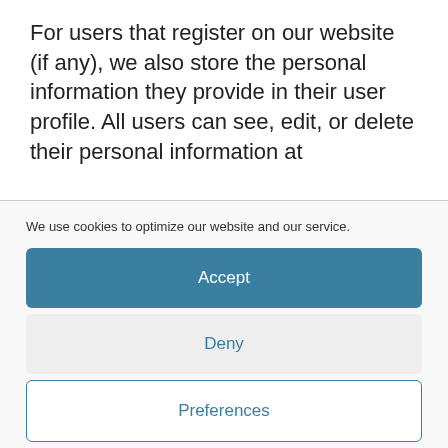For users that register on our website (if any), we also store the personal information they provide in their user profile. All users can see, edit, or delete their personal information at
We use cookies to optimize our website and our service.
Accept
Deny
Preferences
Cookie Policy  Privacy Policy